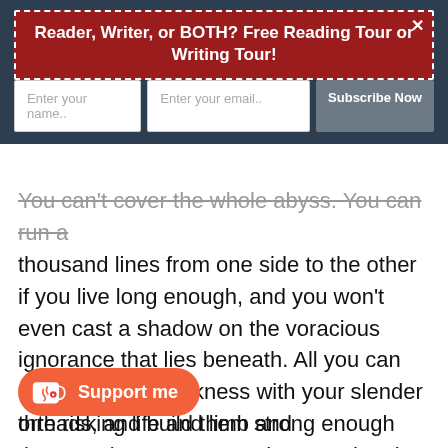Reader, Writer, or BOTH? Free Reading Tour or Writing Tour!
You can't cover the whole abyss. You can run a thousand lines from one side to the other if you live long enough, and you won't even cast a shadow on the voracious ignorance that lies beneath. All you can do is span the darkness with your slender threads, and build them strong enough that people can traverse them, and make them interesting enough that people will take the risk.
[Figure (other): Ko-fi orange support button with cup icon and text 'Support me']
orth risking life and limb and